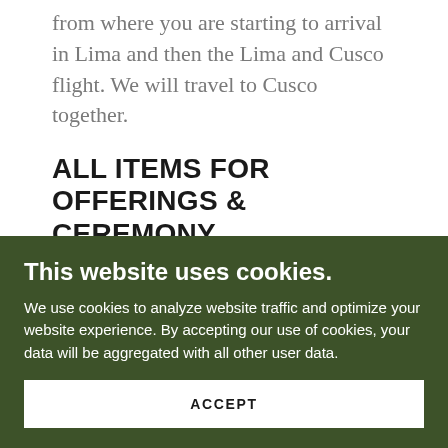from where you are starting to arrival in Lima and then the Lima and Cusco flight. We will travel to Cusco together.
ALL ITEMS FOR OFFERINGS & CEREMONY
The trip includes the offerings for the altares
This website uses cookies.
We use cookies to analyze website traffic and optimize your website experience. By accepting our use of cookies, your data will be aggregated with all other user data.
ACCEPT